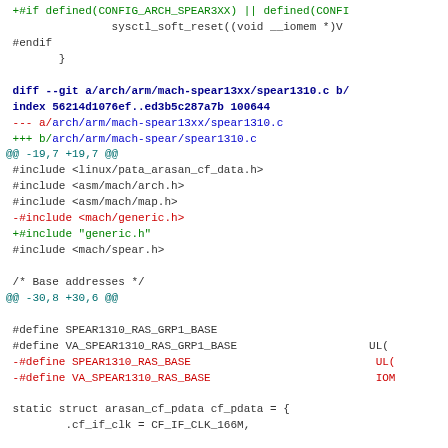diff --git code patch showing changes to spear13xx/spear1310.c and spear13xx/spear1340.c files with include path and define removals